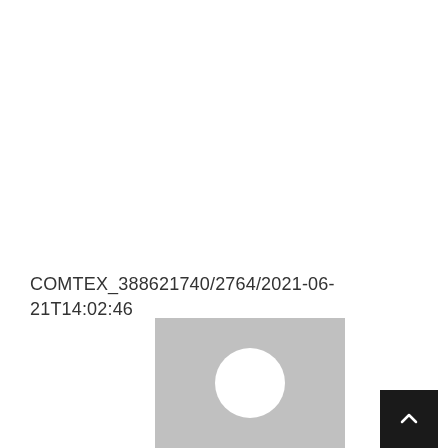COMTEX_388621740/2764/2021-06-21T14:02:46
[Figure (illustration): Gray square placeholder avatar image with white circle in center, representing a user profile picture placeholder]
[Figure (other): Dark/black square button with white upward-pointing chevron arrow (back to top button)]